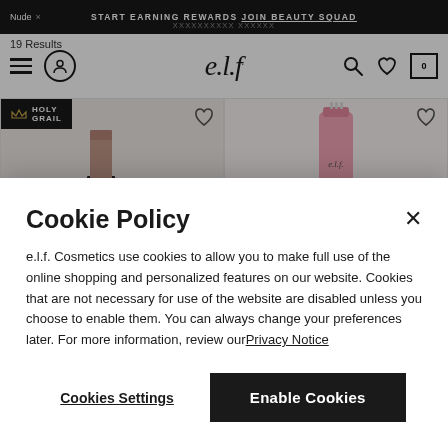Nude × | START EARNING REWARDS JOIN BEAUTY SQUAD
[Figure (screenshot): e.l.f. Cosmetics website navigation bar with hamburger menu, user icon, e.l.f. logo, search, wishlist, and cart icons]
19 Results
[Figure (photo): Two e.l.f. cosmetics products: a nude lipstick with black cap (Holy Grail badge) on the left, and a pink lip gloss tube on the right, with heart/wishlist icons]
Cookie Policy
e.l.f. Cosmetics use cookies to allow you to make full use of the online shopping and personalized features on our website. Cookies that are not necessary for use of the website are disabled unless you choose to enable them. You can always change your preferences later. For more information, review our Privacy Notice
Cookies Settings
Enable Cookies